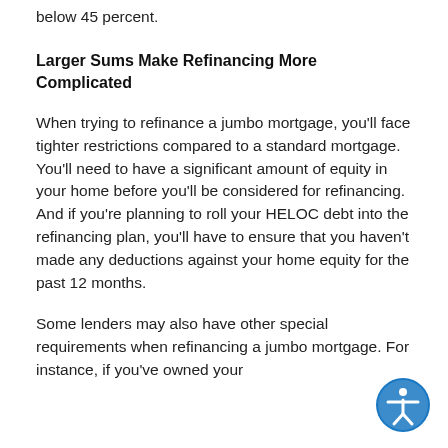below 45 percent.
Larger Sums Make Refinancing More Complicated
When trying to refinance a jumbo mortgage, you'll face tighter restrictions compared to a standard mortgage. You'll need to have a significant amount of equity in your home before you'll be considered for refinancing. And if you're planning to roll your HELOC debt into the refinancing plan, you'll have to ensure that you haven't made any deductions against your home equity for the past 12 months.
Some lenders may also have other special requirements when refinancing a jumbo mortgage. For instance, if you've owned your